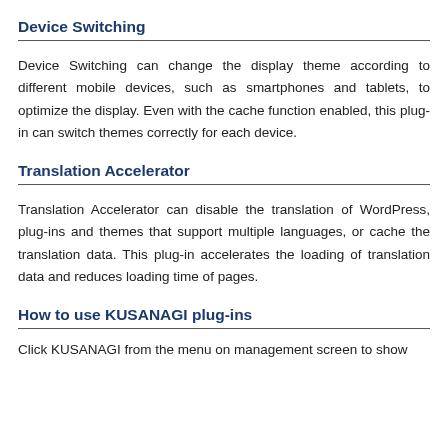Device Switching
Device Switching can change the display theme according to different mobile devices, such as smartphones and tablets, to optimize the display. Even with the cache function enabled, this plug-in can switch themes correctly for each device.
Translation Accelerator
Translation Accelerator can disable the translation of WordPress, plug-ins and themes that support multiple languages, or cache the translation data. This plug-in accelerates the loading of translation data and reduces loading time of pages.
How to use KUSANAGI plug-ins
Click KUSANAGI from the menu on management screen to show